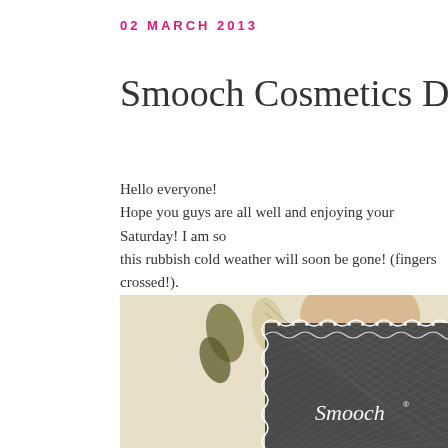02 MARCH 2013
Smooch Cosmetics Duo
Hello everyone!
Hope you guys are all well and enjoying your Saturday! I am so... this rubbish cold weather will soon be gone! (fingers crossed!).
A little review today of some lovely eyeshadows by Smooch Co... this month. They have a lovely range of eyeshadows and packa...
[Figure (photo): Close-up photo of a Smooch cosmetics eyeshadow palette box with a dark grey crosshatch pattern and decorative white lace-style border design, with eyeshadow swatches visible in the background on a light surface.]